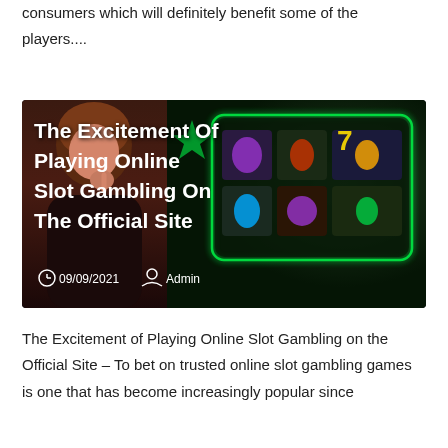consumers which will definitely benefit some of the players....
[Figure (photo): Promotional image showing a woman in black dress beside online slot gambling game screens. Overlaid white bold text reads: 'The Excitement Of Playing Online Slot Gambling On The Official Site'. Below: clock icon, date '09/09/2021', person icon, 'Admin'.]
The Excitement of Playing Online Slot Gambling on the Official Site – To bet on trusted online slot gambling games is one that has become increasingly popular since